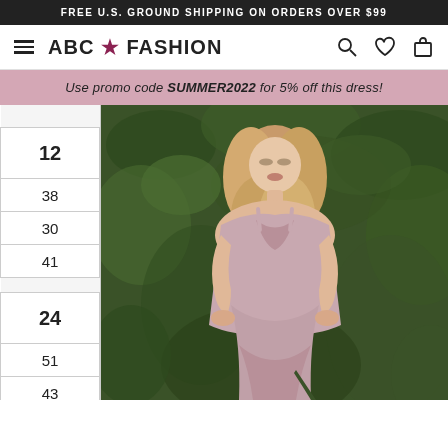FREE U.S. GROUND SHIPPING ON ORDERS OVER $99
ABC ★ FASHION
Use promo code SUMMER2022 for 5% off this dress!
|  |
| 12 |
| 38 |
| 30 |
| 41 |
|  |
| 24 |
| 51 |
| 43 |
| 54 |
[Figure (photo): A blonde woman in a satin mauve/champagne cowl-neck slip dress with slit, posing in front of green foliage background.]